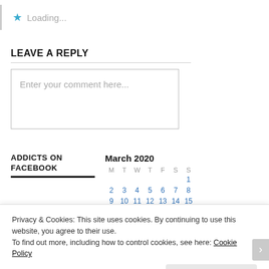★ Loading...
LEAVE A REPLY
Enter your comment here...
ADDICTS ON FACEBOOK
March 2020
| M | T | W | T | F | S | S |
| --- | --- | --- | --- | --- | --- | --- |
|  |  |  |  |  |  | 1 |
| 2 | 3 | 4 | 5 | 6 | 7 | 8 |
| 9 | 10 | 11 | 12 | 13 | 14 | 15 |
| 16 | 17 | 18 | 19 | 20 | 21 | 22 |
•
Privacy & Cookies: This site uses cookies. By continuing to use this website, you agree to their use.
To find out more, including how to control cookies, see here: Cookie Policy
Close and accept